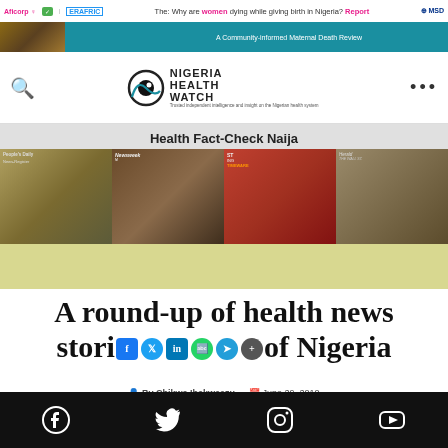Nigeria Health Watch - Health Fact-Check Naija
[Figure (screenshot): Website screenshot showing Nigeria Health Watch logo with eye icon, navigation bar with search icon and dots menu, Health Fact-Check Naija category bar, a strip of newspaper images, and a yellow section below]
A round-up of health news stories from Nigeria
By Chikwe Ihekweazu   June 29, 2010
Social media icons: Facebook, Twitter, Instagram, YouTube